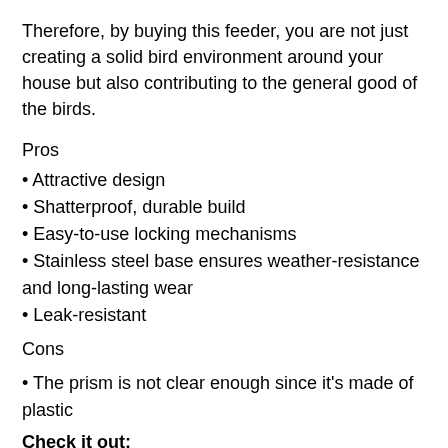Therefore, by buying this feeder, you are not just creating a solid bird environment around your house but also contributing to the general good of the birds.
Pros
Attractive design
Shatterproof, durable build
Easy-to-use locking mechanisms
Stainless steel base ensures weather-resistance and long-lasting wear
Leak-resistant
Cons
The prism is not clear enough since it's made of plastic
Check it out: